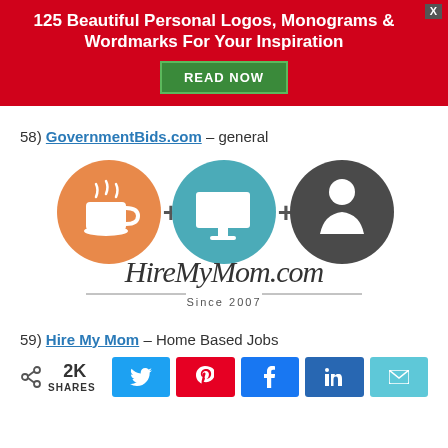[Figure (infographic): Red banner advertisement: '125 Beautiful Personal Logos, Monograms & Wordmarks For Your Inspiration' with a green READ NOW button and a close X button]
58) GovernmentBids.com – general
[Figure (logo): HireMyMom.com logo: three circles (coffee cup, monitor, person figure) with plus signs, and script text 'HireMyMom.com Since 2007']
59) Hire My Mom – Home Based Jobs
[Figure (infographic): Social sharing bar with 2K SHARES count and buttons for Twitter, Pinterest, Facebook, LinkedIn, and Email]